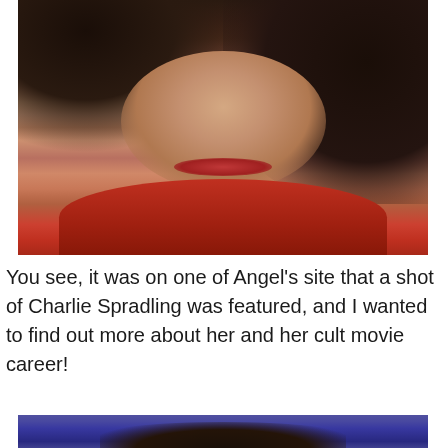[Figure (photo): Close-up photo of a woman with short dark curly hair, wearing a red top, looking slightly to the side. The image appears to be a film or TV still.]
You see, it was on one of Angel's site that a shot of Charlie Spradling was featured, and I wanted to find out more about her and her cult movie career!
[Figure (photo): Partial photo of a person with dark hair against a blue/purple background, cropped at the bottom of the page.]